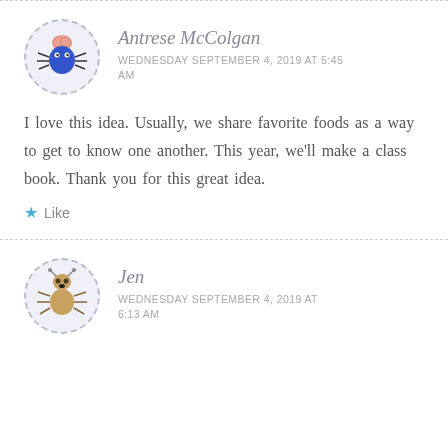Antrese McColgan
WEDNESDAY SEPTEMBER 4, 2019 AT 5:45 AM
I love this idea. Usually, we share favorite foods as a way to get to know one another. This year, we'll make a class book. Thank you for this great idea.
Like
Jen
WEDNESDAY SEPTEMBER 4, 2019 AT 6:13 AM